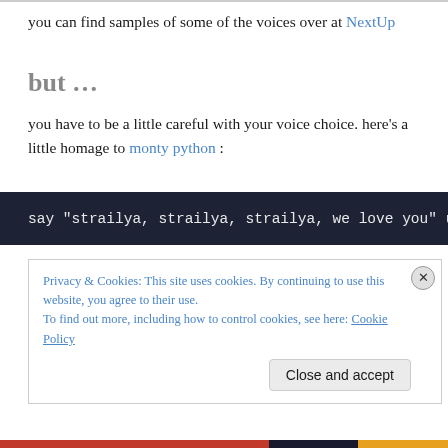you can find samples of some of the voices over at NextUp
but …
you have to be a little careful with your voice choice. here's a little homage to monty python :
say "strailya, strailya, strailya, we love you" usi
now bruce doesn't do a bad job (alex is better) but how would it sound with an australian voice? well the results are disappointing — karen (who pronounces her name more like 'corinne') doesn't know
Privacy & Cookies: This site uses cookies. By continuing to use this website, you agree to their use. To find out more, including how to control cookies, see here: Cookie Policy
Close and accept